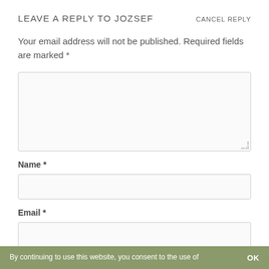LEAVE A REPLY TO JOZSEF
CANCEL REPLY
Your email address will not be published. Required fields are marked *
[Figure (other): Comment text area input box (empty)]
Name *
[Figure (other): Name text input field (empty)]
Email *
[Figure (other): Email text input field (empty)]
By continuing to use this website, you consent to the use of   OK